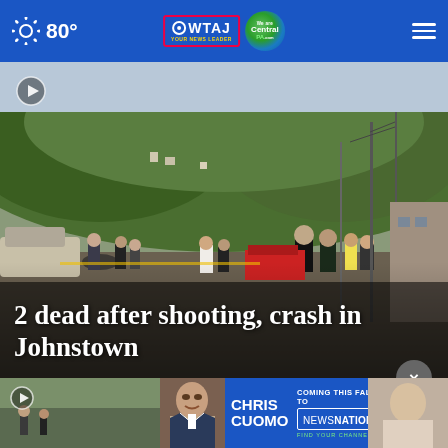80° — WTAJ Your News Leader | CentralPA.com
[Figure (photo): News photo showing emergency responders and first responders gathered on a street in Johnstown, Pennsylvania, with a wooded hillside in the background. A fire truck is visible in the scene.]
2 dead after shooting, crash in Johnstown
[Figure (photo): Advertisement banner for Chris Cuomo Coming This Fall to NewsNation - Find Your Channel, with photo of Chris Cuomo]
[Figure (photo): Two small video thumbnail images at the bottom of the page]